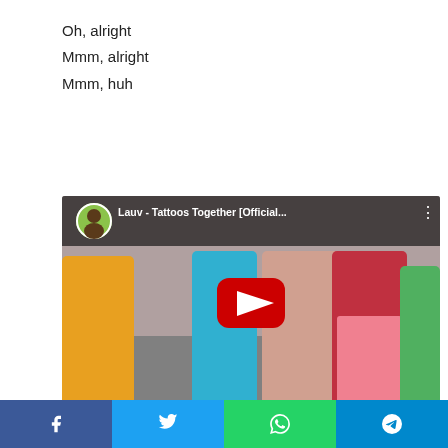Oh, alright
Mmm, alright
Mmm, huh
[Figure (screenshot): YouTube video thumbnail for 'Lauv - Tattoos Together [Official...' showing people dancing outdoors with a red play button overlay and a YouTube-style top bar with channel avatar and title.]
Tags   Tattoos Together Song
Tattoos Together Song from Lauv (English)[2020]